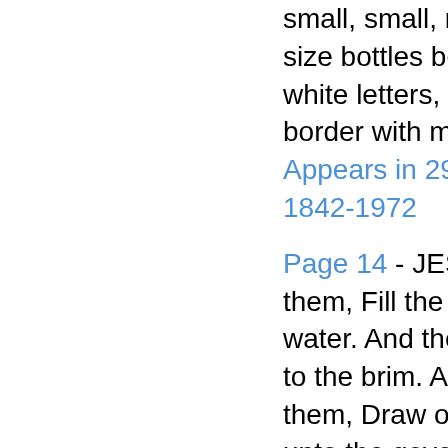small, small, medium and large size bottles bearing a red label, white letters, gold and blue border with my signature.
Appears in 296 books from 1842-1972
Page 14 - JESUS saith unto them, Fill the water-pots with water. And they filled them up to the brim. And he saith unto them, Draw out now, and bear unto the governor of the feast.
Appears in 876 books from 1701-2008
Page 490 - A Practical Treatise on Diseases of the Skin, for the use of Students and